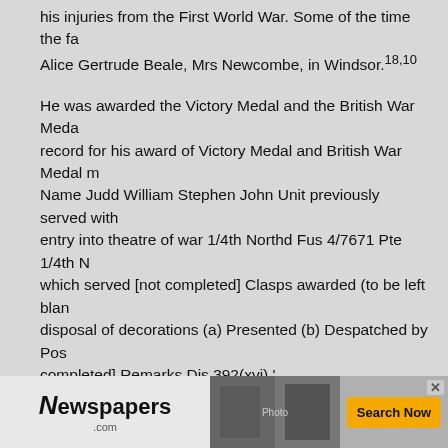his injuries from the First World War. Some of the time the fa... Alice Gertrude Beale, Mrs Newcombe, in Windsor.18,10
He was awarded the Victory Medal and the British War Meda... record for his award of Victory Medal and British War Medal m... Name Judd William Stephen John Unit previously served with... entry into theatre of war 1/4th Northd Fus 4/7671 Pte 1/4th N... which served [not completed] Clasps awarded (to be left blan... disposal of decorations (a) Presented (b) Despatched by Pos... completed] Remarks Dis.392(xvi).'
The Imperial War Museum says of the Victory Medal: 'This m... a winged figure of Victory. On the reverse is an inscription, 'T... CIVILIZATION'......Ribbon red in centre, with green and violet... colours of two rainbows.... granted to all....men of the British...
According to the Imprial War Museum the British War Medal:... 1919 to record the bringing of the war to a successful conclus... rendered by His Majesty's Forces...legend 'GEORGIVS V:BR... ...reverse represents St George on horseback trampling unde... Powers and a skull and cross-bones, the emblems of death. A... The ribbon has an orange watered centre with stripes of whi...
of royal ...those war on g... ...ered ap... the wate... ...ngdom...
[Figure (other): Newspapers.com advertisement banner with logo, photo collage, and Search Now button]